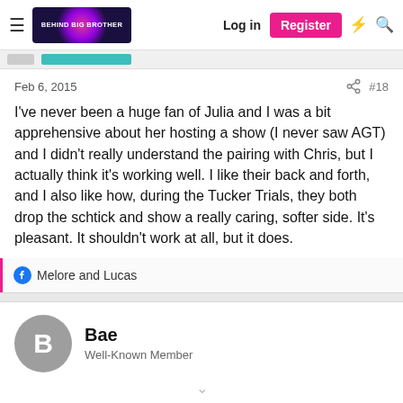Behind Big Brother — Log in | Register
Feb 6, 2015   #18
I've never been a huge fan of Julia and I was a bit apprehensive about her hosting a show (I never saw AGT) and I didn't really understand the pairing with Chris, but I actually think it's working well. I like their back and forth, and I also like how, during the Tucker Trials, they both drop the schtick and show a really caring, softer side. It's pleasant. It shouldn't work at all, but it does.
Melore and Lucas
Bae
Well-Known Member